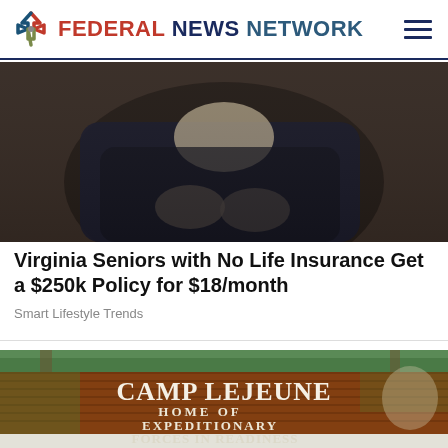FEDERAL NEWS NETWORK
[Figure (photo): Elderly person in dark jacket with hands clasped, partially cropped photo]
Virginia Seniors with No Life Insurance Get a $250k Policy for $18/month
Smart Lifestyle Trends
[Figure (photo): Camp Lejeune entrance sign on brick wall reading 'CAMP LEJEUNE HOME OF EXPEDITIONARY FORCES IN READINESS' with trees in background]